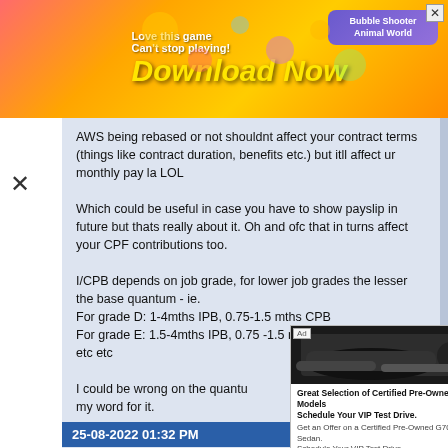[Figure (screenshot): Colorful mobile game advertisement banner with 'Love this game Can't stop playing! Download Now' text and Bubble Shooter Animal World branding]
AWS being rebased or not shouldnt affect your contract terms (things like contract duration, benefits etc.) but itll affect ur monthly pay la LOL

Which could be useful in case you have to show payslip in future but thats really about it. Oh and ofc that in turns affect your CPF contributions too.

I/CPB depends on job grade, for lower job grades the lesser the base quantum - ie.
For grade D: 1-4mths IPB, 0.75-1.5 mths CPB
For grade E: 1.5-4mths IPB, 0.75 -1.5 mths CPB
etc etc

I could be wrong on the quantum, so don't take my word for it.
25-08-2022 01:32 PM
Unregistered
Quote:
Originally Posted by Unregistered
yeap, that info given by HR is indeed quite accurate. just be sure that u are sourced by